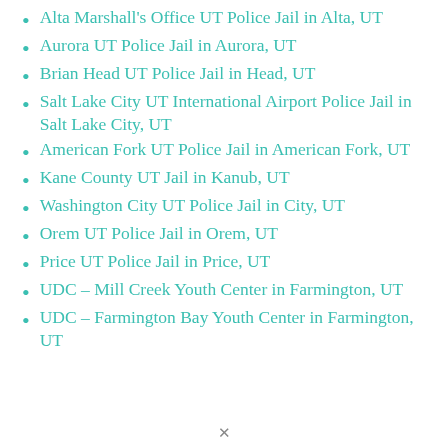Alta Marshall's Office UT Police Jail in Alta, UT
Aurora UT Police Jail in Aurora, UT
Brian Head UT Police Jail in Head, UT
Salt Lake City UT International Airport Police Jail in Salt Lake City, UT
American Fork UT Police Jail in American Fork, UT
Kane County UT Jail in Kanub, UT
Washington City UT Police Jail in City, UT
Orem UT Police Jail in Orem, UT
Price UT Police Jail in Price, UT
UDC – Mill Creek Youth Center in Farmington, UT
UDC – Farmington Bay Youth Center in Farmington, UT